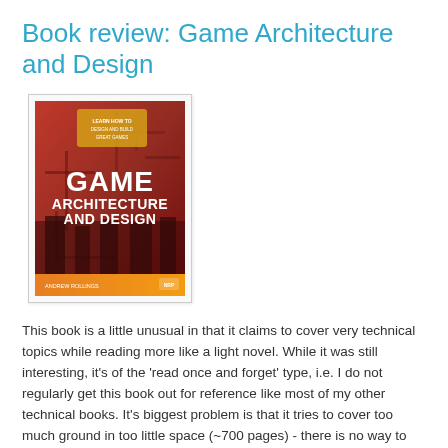Book review: Game Architecture and Design
[Figure (photo): Book cover of 'Game Architecture and Design' — red and orange toned cover with circuit board imagery, large bold white text reading GAME ARCHITECTURE AND DESIGN, yellow bottom strip with author name and publisher logo.]
This book is a little unusual in that it claims to cover very technical topics while reading more like a light novel. While it was still interesting, it's of the 'read once and forget' type, i.e. I do not regularly get this book out for reference like most of my other technical books. It's biggest problem is that it tries to cover too much ground in too little space (~700 pages) - there is no way to deal with the whole process of developing a commercial quality game in a single book. As a result the